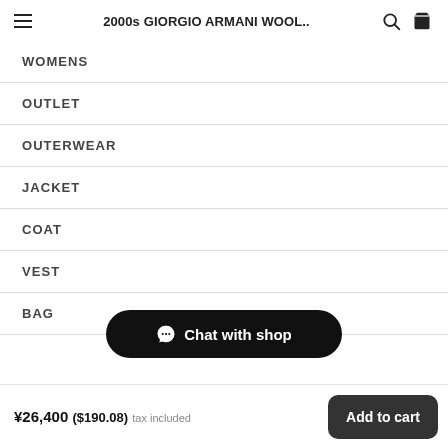2000s GIORGIO ARMANI WOOL..
WOMENS
OUTLET
OUTERWEAR
JACKET
COAT
VEST
BAG
Chat with shop
¥26,400 ($190.08) tax included  Add to cart